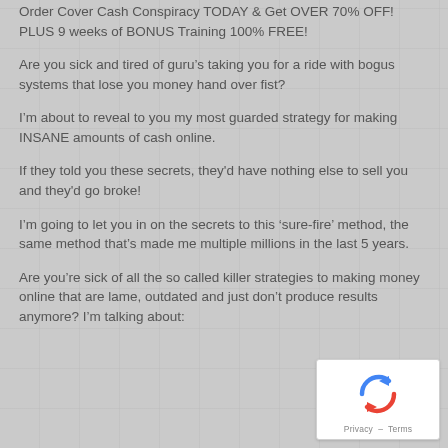Order Cover Cash Conspiracy TODAY & Get OVER 70% OFF! PLUS 9 weeks of BONUS Training 100% FREE!
Are you sick and tired of guru’s taking you for a ride with bogus systems that lose you money hand over fist?
I’m about to reveal to you my most guarded strategy for making INSANE amounts of cash online.
If they told you these secrets, they'd have nothing else to sell you and they'd go broke!
I’m going to let you in on the secrets to this ‘sure-fire’ method, the same method that’s made me multiple millions in the last 5 years.
Are you’re sick of all the so called killer strategies to making money online that are lame, outdated and just don’t produce results anymore? I’m talking about:
[Figure (logo): reCAPTCHA badge with rotating arrows logo and Privacy – Terms text]